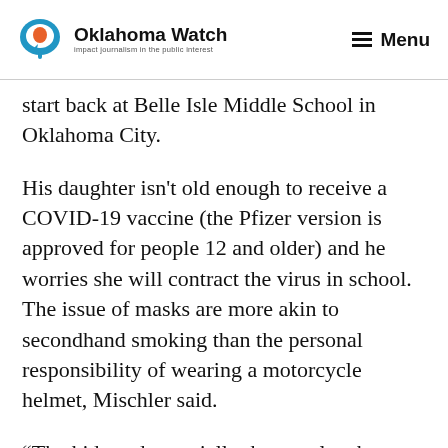Oklahoma Watch — Impact journalism in the public interest | Menu
start back at Belle Isle Middle School in Oklahoma City.
His daughter isn't old enough to receive a COVID-19 vaccine (the Pfizer version is approved for people 12 and older) and he worries she will contract the virus in school. The issue of masks are more akin to secondhand smoking than the personal responsibility of wearing a motorcycle helmet, Mischler said.
“The kids and especially the people who